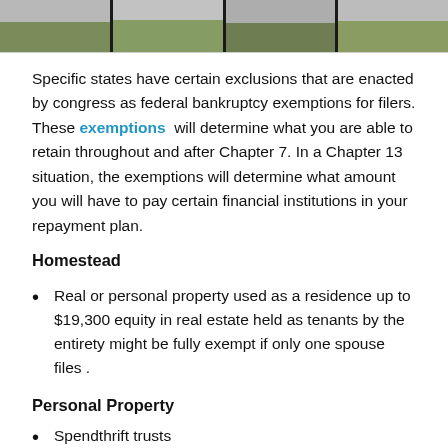[Figure (photo): Photograph strip showing a road and grassy area, divided into segments by dark vertical bars]
Specific states have certain exclusions that are enacted by congress as federal bankruptcy exemptions for filers. These exemptions will determine what you are able to retain throughout and after Chapter 7. In a Chapter 13 situation, the exemptions will determine what amount you will have to pay certain financial institutions in your repayment plan.
Homestead
Real or personal property used as a residence up to $19,300 equity in real estate held as tenants by the entirety might be fully exempt if only one spouse files .
Personal Property
Spendthrift trusts